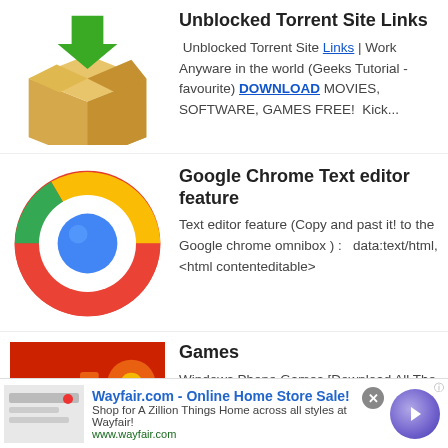Unblocked Torrent Site Links — Unblocked Torrent Site Links | Work Anyware in the world (Geeks Tutorial - favourite) DOWNLOAD MOVIES, SOFTWARE, GAMES FREE! Kick...
Google Chrome Text editor feature — Text editor feature (Copy and past it! to the Google chrome omnibox ) : data:text/html,<html contenteditable>
Games — Windows Phone Games [Download All The Paid Windows Phone Games Here For Absolutely Free] Doodle Tanks v2015.425.1912.4649 ...
Royal Revolt 2 v1.4.0.0 – Windows Phone Xap — Royal Revolt 2 v1.4.0.0 – Windows Phone Xap Royal Revolt 2
[Figure (infographic): Wayfair.com advertisement banner: Online Home Store Sale! Shop for A Zillion Things Home across all styles at Wayfair! www.wayfair.com]